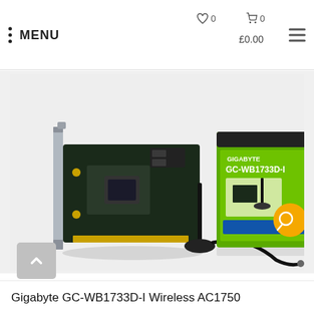MENU  ♡ 0  🛒 0  £0.00
[Figure (photo): Gigabyte GC-WB1733D-I wireless PCIe adapter card shown alongside its retail box (green Gigabyte branding) and an external antenna with cable]
Gigabyte GC-WB1733D-I Wireless AC1750